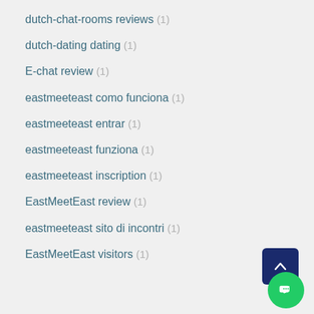dutch-chat-rooms reviews (1)
dutch-dating dating (1)
E-chat review (1)
eastmeeteast como funciona (1)
eastmeeteast entrar (1)
eastmeeteast funziona (1)
eastmeeteast inscription (1)
EastMeetEast review (1)
eastmeeteast sito di incontri (1)
EastMeetEast visitors (1)